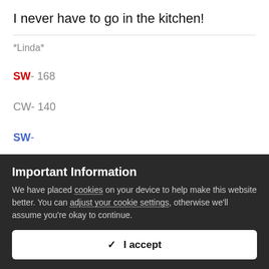I never have to go in the kitchen!
*Linda*
SW- 168
CW- 140
SW-
Important Information
We have placed cookies on your device to help make this website better. You can adjust your cookie settings, otherwise we'll assume you're okay to continue.
✓  I accept